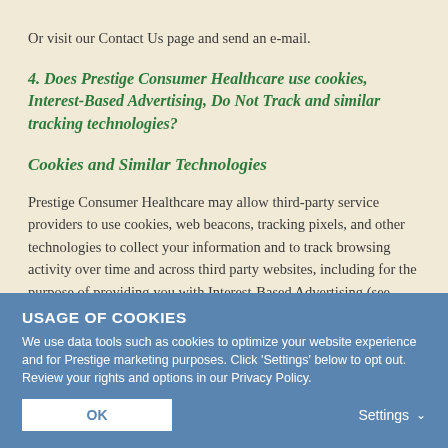Or visit our Contact Us page and send an e-mail.
4. Does Prestige Consumer Healthcare use cookies, Interest-Based Advertising, Do Not Track and similar tracking technologies?
Cookies and Similar Technologies
Prestige Consumer Healthcare may allow third-party service providers to use cookies, web beacons, tracking pixels, and other technologies to collect your information and to track browsing activity over time and across third party websites, including for the purpose of providing you with Interest-Based Advertising (see below for more
USAGE OF COOKIES
We use data tools such as cookies to optimize your website experience and for Prestige marketing purposes. Click 'Settings' below to opt out. Review your rights and options in our Privacy Policy.
OK
Settings